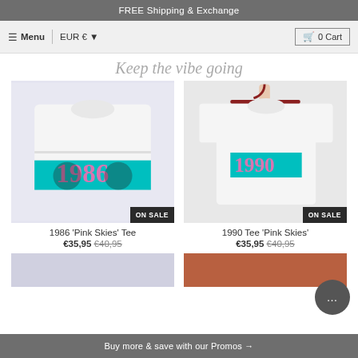FREE Shipping & Exchange
Menu  EUR €  0 Cart
Keep the vibe going
[Figure (photo): Folded white t-shirt with teal rectangle graphic reading '1986' in pink and black letters, ON SALE badge]
1986 'Pink Skies' Tee
€35,95  €40,95
[Figure (photo): White t-shirt on dark red hanger held by hand, with teal rectangle graphic reading '1990', ON SALE badge]
1990 Tee 'Pink Skies'
€35,95  €40,95
Buy more & save with our Promos →